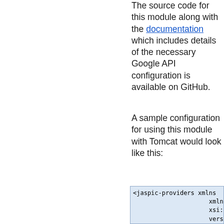The source code for this module along with the documentation which includes details of the necessary Google API configuration is available on GitHub.
A sample configuration for using this module with Tomcat would look like this:
[Figure (screenshot): XML code block showing jaspic-providers configuration with provider name='googl...', className, layer='Http...', appContext, description, and multiple property elements for org, oau, oau, ign values. Ends with </provider>]